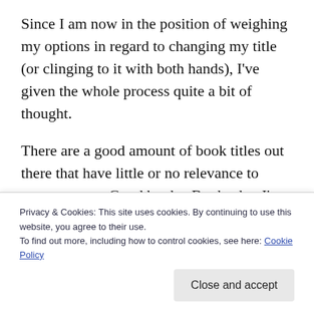Since I am now in the position of weighing my options in regard to changing my title (or clinging to it with both hands), I've given the whole process quite a bit of thought.
There are a good amount of book titles out there that have little or no relevance to story content. Good books. Books that I'm sure had original titles, titles that fit and worked, only to be changed in order to draw more readers.
In the YA fantasy/paranormal genre they seem more prevalent. So here's the question: Should the title represent the story? Or should the aim of a title be to draw...
Privacy & Cookies: This site uses cookies. By continuing to use this website, you agree to their use.
To find out more, including how to control cookies, see here: Cookie Policy